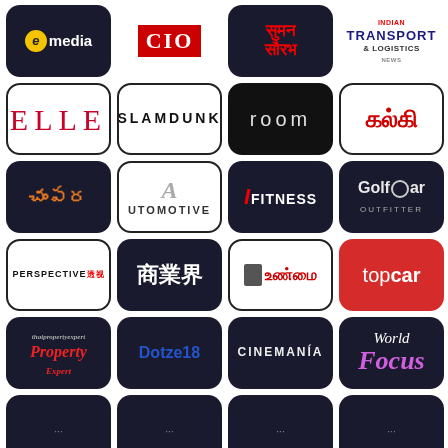[Figure (logo): emedia logo - dark tile with yellow circle e and white text media]
[Figure (logo): CIO logo - red box with white CIO text on white background]
[Figure (logo): Suman Saurabh - red Hindi text on dark background]
[Figure (logo): Indian Transport & Logistics News logo on white background]
[Figure (logo): ELLE logo in red serif on white background]
[Figure (logo): SLAMDUNK logo in bold black on white background]
[Figure (logo): room logo in light grey on dark background]
[Figure (logo): Kalki Tamil logo in red on white background]
[Figure (logo): Champari Telugu logo in orange on dark background]
[Figure (logo): Automotive logo on white background]
[Figure (logo): iFitness logo in white and red on dark background]
[Figure (logo): GolfStar Outfitter logo on dark background]
[Figure (logo): Perspective Chinese magazine logo on white background]
[Figure (logo): Shangyejie Chinese logo in white on dark background]
[Figure (logo): Unmai Tamil logo with portrait on white/dark background]
[Figure (logo): topcar logo in white on red background]
[Figure (logo): Property Expert logo in red on dark background]
[Figure (logo): Dotze18 logo in blue on dark background]
[Figure (logo): CINEMANIA logo in white on dark background]
[Figure (logo): World Focus logo in white and purple on dark background]